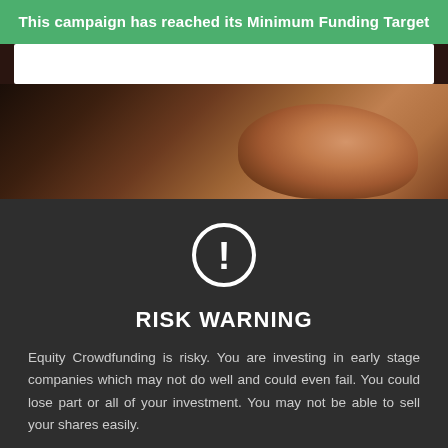This campaign has reached its Minimum Funding Target
[Figure (photo): Close-up photo of a person's face (side profile showing nose and cheek) against a dark background, with a white bar element at the top of the photo area]
[Figure (other): Warning icon: white circle outline with white exclamation mark inside, on dark background]
RISK WARNING
Equity Crowdfunding is risky. You are investing in early stage companies which may not do well and could even fail. You could lose part or all of your investment. You may not be able to sell your shares easily.